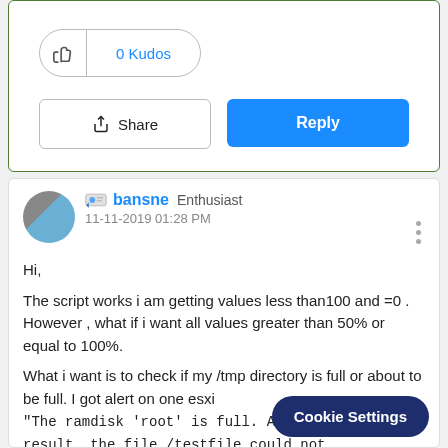[Figure (screenshot): Kudos button showing 0 Kudos with thumbs up icon]
[Figure (screenshot): Share button with share icon]
[Figure (screenshot): Reply button in blue]
bansne  Enthusiast
11-11-2019 01:28 PM
Hi,
The script works i am getting values less than100 and =0 . However , what if i want all values greater than 50% or equal to 100%.
What i want is to check if my /tmp directory is full or about to be full. I got alert on one esxi "The ramdisk 'root' is full. As a result, the file /testfile could not be written." need to hosts stats in vc.
Cookie Settings